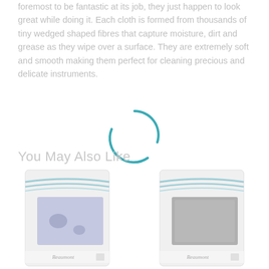foremost to be fantastic at its job, they just happen to look great while doing it. Each cloth is formed from thousands of tiny wedged shaped fibres that capture moisture, dirt and grease as they wipe over a surface. They are extremely soft and smooth making them perfect for cleaning precious and delicate instruments.
[Figure (other): A teal/blue loading spinner icon (circular arc segments), partially overlapping the 'You May Also Like' section header text]
You May Also Like
[Figure (photo): Two product package images side by side at the bottom of the page. Left: a Beaumont branded cloth package with a blue/lavender cloth visible. Right: a Beaumont branded cloth package with a grey cloth visible. Both packages have similar design with rope/cord details and brand logo at the bottom.]